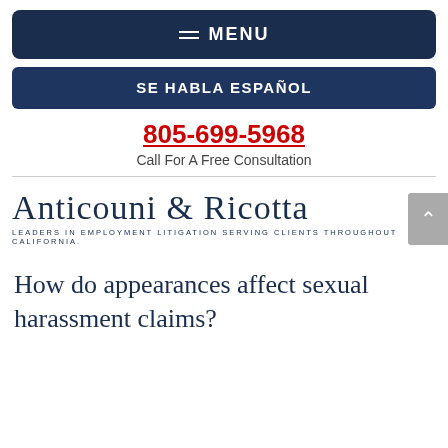MENU
SE HABLA ESPAÑOL
805-699-5968 Call For A Free Consultation
[Figure (logo): Anticouni & Ricotta - Leaders in Employment Litigation Serving Clients Throughout California.]
How do appearances affect sexual harassment claims?